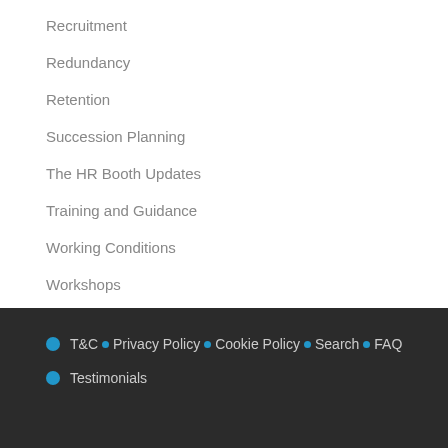Recruitment
Redundancy
Retention
Succession Planning
The HR Booth Updates
Training and Guidance
Working Conditions
Workshops
• T&C • Privacy Policy • Cookie Policy • Search • FAQ • Testimonials